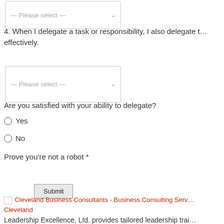— Please select —
4. When I delegate a task or responsibility, I also delegate t… effectively.
— Please select —
Are you satisfied with your ability to delegate?
Yes
No
Prove you're not a robot *
Submit
Cleveland Business Consultants - Business Consulting Serv… Cleveland
Leadership Excellence, Ltd. provides tailored leadership trai…